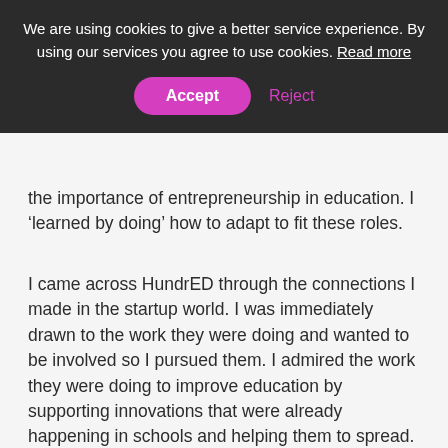We are using cookies to give a better service experience. By using our services you agree to use cookies. Read more
Accept
Reject
the importance of entrepreneurship in education. I ‘learned by doing’ how to adapt to fit these roles.
I came across HundrED through the connections I made in the startup world. I was immediately drawn to the work they were doing and wanted to be involved so I pursued them. I admired the work they were doing to improve education by supporting innovations that were already happening in schools and helping them to spread.